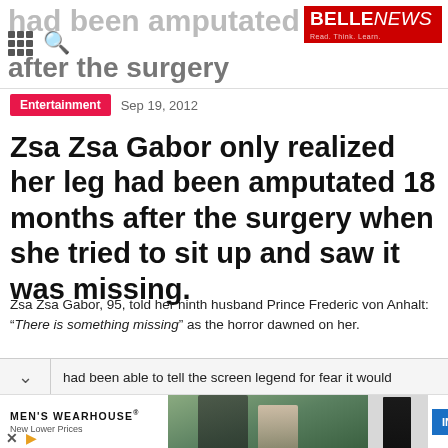BELLE NEWS - Read. Think. Learn.
had been amputated after the surgery
Entertainment  Sep 19, 2012
Zsa Zsa Gabor only realized her leg had been amputated 18 months after the surgery when she tried to sit up and saw it was missing.
Zsa Zsa Gabor, 95, told her ninth husband Prince Frederic von Anhalt: “There is something missing” as the horror dawned on her.
had been able to tell the screen legend for fear it would
[Figure (photo): Advertisement for Men's Wearhouse featuring a couple in formal wear and a man in a tuxedo, with an INFO button]
MEN'S WEARHOUSE® New Lower Prices